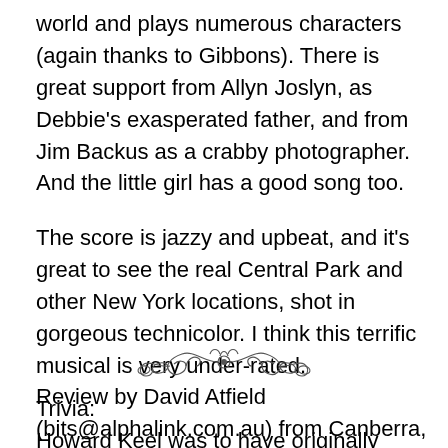world and plays numerous characters (again thanks to Gibbons). There is great support from Allyn Joslyn, as Debbie's exasperated father, and from Jim Backus as a crabby photographer. And the little girl has a good song too.
The score is jazzy and upbeat, and it's great to see the real Central Park and other New York locations, shot in gorgeous technicolor. I think this terrific musical is very under-rated.
Review by David Atfield (bits@alphalink.com.au) from Canberra, Australia for the IMDb.
[Figure (illustration): Decorative ornamental divider with scrollwork and flourishes]
Trivia:
Howard Keel was to have originally been the star in Judy